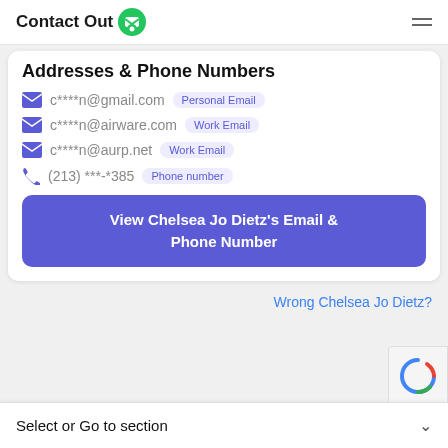ContactOut
Addresses & Phone Numbers
c****n@gmail.com  Personal Email
c****n@airware.com  Work Email
c****n@aurp.net  Work Email
(213) ***-*385  Phone number
View Chelsea Jo Dietz's Email & Phone Number
Wrong Chelsea Jo Dietz?
Select or Go to section